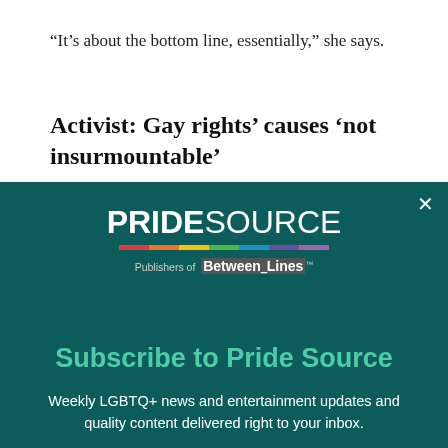“It’s about the bottom line, essentially,” she says.
Activist: Gay rights’ causes ‘not insurmountable’
[Figure (screenshot): Pride Source newsletter subscription modal overlay on a dark teal background. Contains the PRIDESOURCE logo with rainbow bar, 'Publishers of Between the Lines' text, 'Subscribe to Pride Source' heading in teal, description text about weekly LGBTQ+ news, and a 'Subscribe Now' button in teal.]
have  not seen as many gains as the gay and lesbian